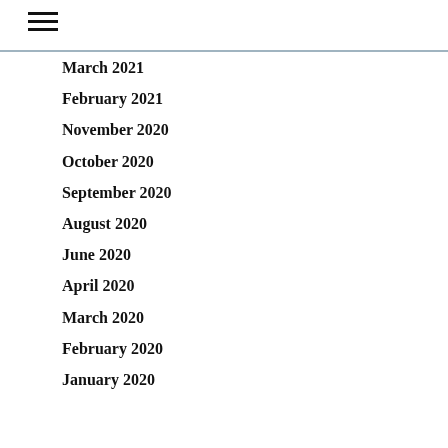March 2021
February 2021
November 2020
October 2020
September 2020
August 2020
June 2020
April 2020
March 2020
February 2020
January 2020